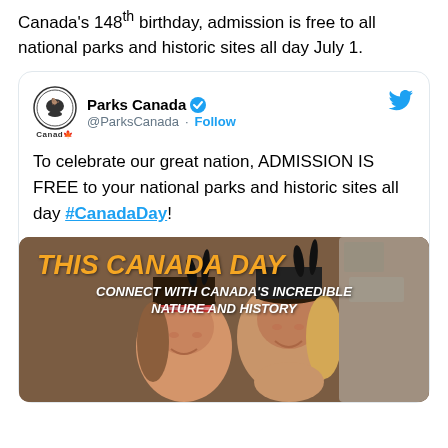Canada's 148th birthday, admission is free to all national parks and historic sites all day July 1.
Parks Canada @ParksCanada · Follow
To celebrate our great nation, ADMISSION IS FREE to your national parks and historic sites all day #CanadaDay!
[Figure (photo): Parks Canada tweet image with text 'THIS CANADA DAY CONNECT WITH CANADA'S INCREDIBLE NATURE AND HISTORY' overlaid on a photo of two smiling children wearing traditional hats]